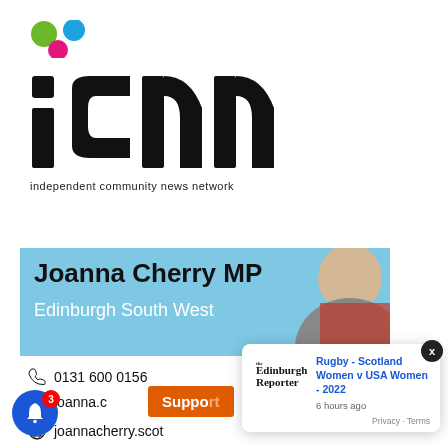[Figure (logo): ICNN - Independent Community News Network logo with colored dots (green, blue, pink) above the letters 'icnn' in bold black, and tagline 'independent community news network' below]
[Figure (infographic): Joanna Cherry MP banner with light blue background, bold black name text and white Edinburgh South West constituency text, partially visible portrait photo]
0131 600 0156
joanna.c[herry]
joannacherry.scot
[Figure (screenshot): Popup notification card showing Edinburgh Reporter logo and headline 'Rugby - Scotland Women v USA Women - 2022' posted 6 hours ago, with Privacy - Terms footer]